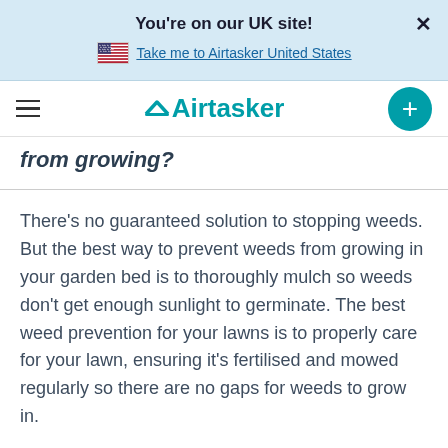You're on our UK site!
Take me to Airtasker United States
[Figure (logo): Airtasker logo with hamburger menu and plus button navigation bar]
from growing?
There's no guaranteed solution to stopping weeds. But the best way to prevent weeds from growing in your garden bed is to thoroughly mulch so weeds don't get enough sunlight to germinate. The best weed prevention for your lawns is to properly care for your lawn, ensuring it's fertilised and mowed regularly so there are no gaps for weeds to grow in.